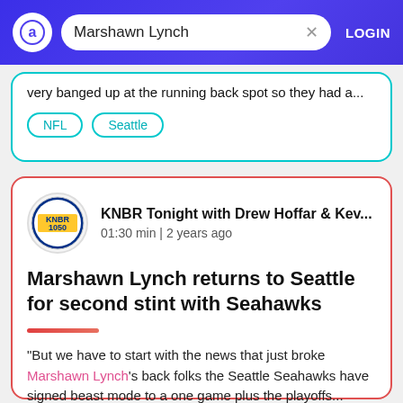Marshawn Lynch  LOGIN
very banged up at the running back spot so they had a...
NFL
Seattle
KNBR Tonight with Drew Hoffar & Kev...  01:30 min | 2 years ago
Marshawn Lynch returns to Seattle for second stint with Seahawks
"But we have to start with the news that just broke Marshawn Lynch's back folks the Seattle Seahawks have signed beast mode to a one game plus the playoffs...